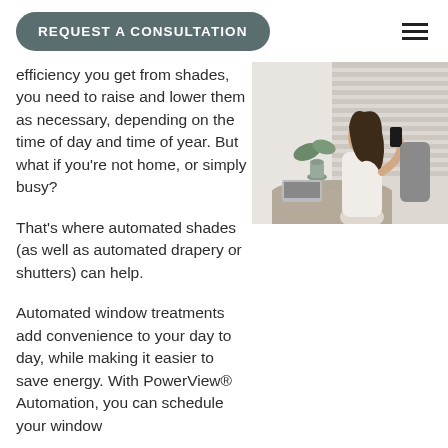REQUEST A CONSULTATION
efficiency you get from shades, you need to raise and lower them as necessary, depending on the time of day and time of year. But what if you’re not home, or simply busy?
[Figure (photo): Woman sitting at a table holding a smartphone, with window blinds visible in the background]
That’s where automated shades (as well as automated drapery or shutters) can help.
Automated window treatments add convenience to your day to day, while making it easier to save energy. With PowerView® Automation, you can schedule your window